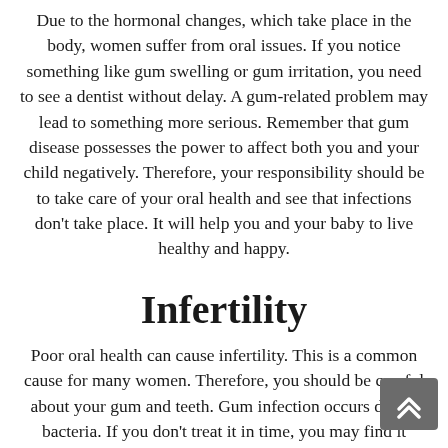Due to the hormonal changes, which take place in the body, women suffer from oral issues. If you notice something like gum swelling or gum irritation, you need to see a dentist without delay. A gum-related problem may lead to something more serious. Remember that gum disease possesses the power to affect both you and your child negatively. Therefore, your responsibility should be to take care of your oral health and see that infections don't take place. It will help you and your baby to live healthy and happy.
Infertility
Poor oral health can cause infertility. This is a common cause for many women. Therefore, you should be careful about your gum and teeth. Gum infection occurs due to bacteria. If you don't treat it in time, you may find it difficult to conceive as gum infection leads to pregnancy-related issues.